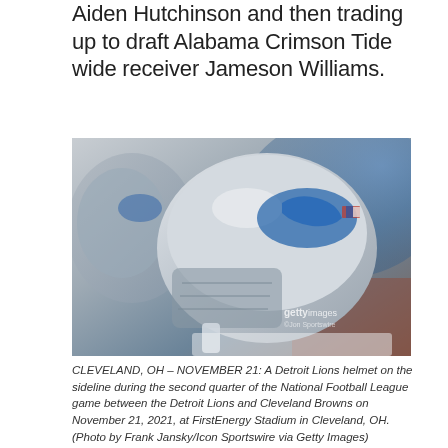Aiden Hutchinson and then trading up to draft Alabama Crimson Tide wide receiver Jameson Williams.
[Figure (photo): A Detroit Lions helmet on a stand on the sideline, with another helmet visible in the background. Photo has a Getty Images watermark.]
CLEVELAND, OH – NOVEMBER 21: A Detroit Lions helmet on the sideline during the second quarter of the National Football League game between the Detroit Lions and Cleveland Browns on November 21, 2021, at FirstEnergy Stadium in Cleveland, OH. (Photo by Frank Jansky/Icon Sportswire via Getty Images)